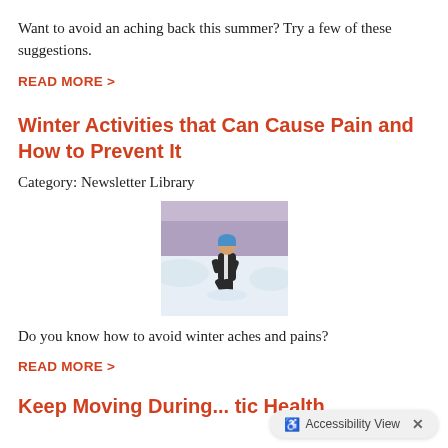Want to avoid an aching back this summer? Try a few of these suggestions.
READ MORE >
Winter Activities that Can Cause Pain and How to Prevent It
Category: Newsletter Library
[Figure (photo): Person in winter sportswear kneeling in snow, wearing a blue cap, snowy winter landscape in background.]
Do you know how to avoid winter aches and pains?
READ MORE >
Keep Moving During... tic Health